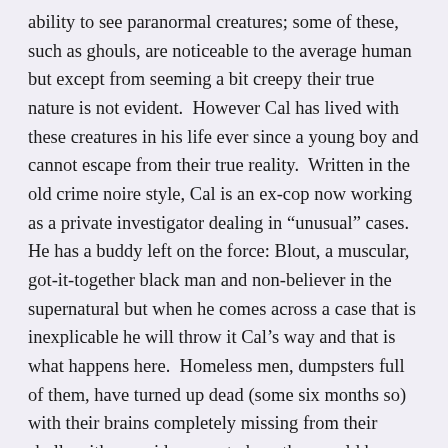ability to see paranormal creatures; some of these, such as ghouls, are noticeable to the average human but except from seeming a bit creepy their true nature is not evident.  However Cal has lived with these creatures in his life ever since a young boy and cannot escape from their true reality.  Written in the old crime noire style, Cal is an ex-cop now working as a private investigator dealing in "unusual" cases.  He has a buddy left on the force: Blout, a muscular, got-it-together black man and non-believer in the supernatural but when he comes across a case that is inexplicable he will throw it Cal's way and that is what happens here.  Homeless men, dumpsters full of them, have turned up dead (some six months so) with their brains completely missing from their skulls with no evidence as to how they could have been removed.  This brings back an old case of Cal's, but that perpetrator is dead; Cal killed him with his own hands, or did he?  Cal, Blount, and Cal's sidekick, the ghoul Mo'Lock take the case and enter the sewers of DC